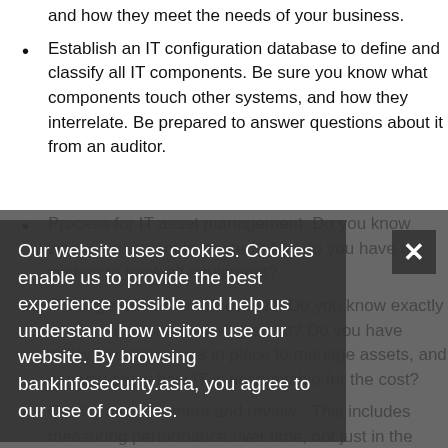and how they meet the needs of your business.
Establish an IT configuration database to define and classify all IT components. Be sure you know what components touch other systems, and how they interrelate. Be prepared to answer questions about it from an auditor.
Process for IT asset management. Do you know where equipment is located? And do you have a system to track all equipment?
IT budget allocation processes. Do you know exactly where that money is being spent? Do you have policy and processes in place to manage assets, and can you show how IT is accountable for the cost?
Quality measurement and review - This includes measuring performance over time, not just in the short term.
Finally, you probably also need to show project management methodology including, Project phases
Our website uses cookies. Cookies enable us to provide the best experience possible and help us understand how visitors use our website. By browsing bankinfosecurity.asia, you agree to our use of cookies.